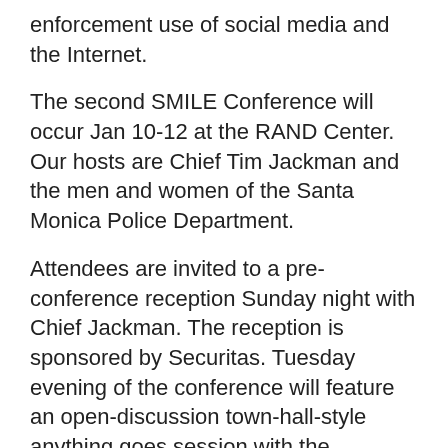enforcement use of social media and the Internet.
The second SMILE Conference will occur Jan 10-12 at the RAND Center. Our hosts are Chief Tim Jackman and the men and women of the Santa Monica Police Department.
Attendees are invited to a pre-conference reception Sunday night with Chief Jackman. The reception is sponsored by Securitas. Tuesday evening of the conference will feature an open-discussion town-hall-style anything goes session with the speakers.
Registration is still open but we’re close to capacity. Be sure to register soon. There are also discounts available for CPOA, Police1 and PERF members, readers of the LAwS Communications newsletter, Law Enforcement 2.0 members (on LinkedIn), California law enforcement and any agency sending a group of SMILErs. Many of the